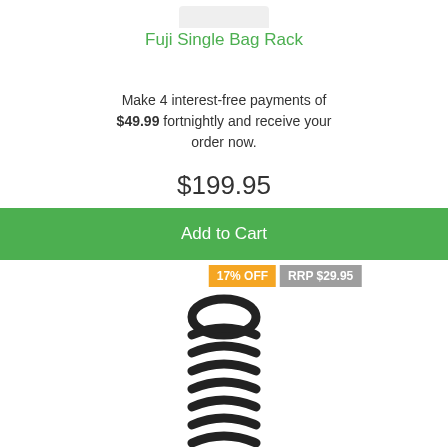Fuji Single Bag Rack
Make 4 interest-free payments of $49.99 fortnightly and receive your order now.
$199.95
Add to Cart
[Figure (photo): Black metal coil spring product photo with 17% OFF and RRP $29.95 badges]
17% OFF
RRP $29.95